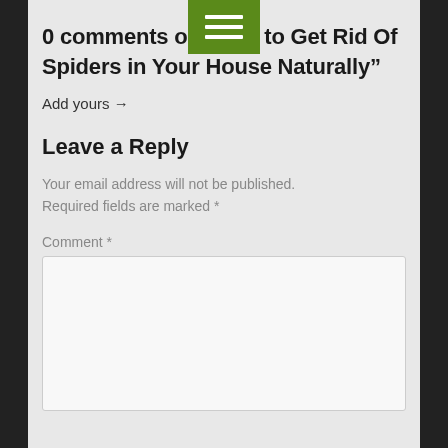[Figure (other): Green hamburger menu navigation icon button]
0 comments on ‘How to Get Rid Of Spiders in Your House Naturally”
Add yours →
Leave a Reply
Your email address will not be published. Required fields are marked *
Comment *
[Figure (other): Empty comment text area input box]